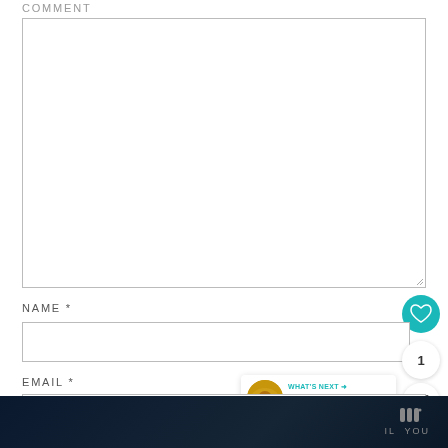COMMENT
[Figure (screenshot): Empty comment textarea input box with resize handle at bottom right]
NAME *
[Figure (screenshot): Empty name text input field]
EMAIL *
[Figure (screenshot): Empty email text input field]
[Figure (infographic): Teal circular heart/like button, like count showing 1, share button, and What's Next widget showing 45+ Nutritioulicio... article thumbnail]
IL YOU